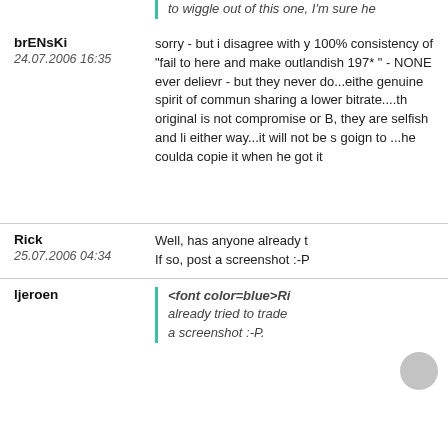to wiggle out of this one, I'm sure he
brENsKi
24.07.2006 16:35
sorry - but i disagree with y 100% consistency of "fail to here and make outlandish 197* " - NONE ever delievr - but they never do...eithe genuine spirit of commun sharing a lower bitrate....th original is not compromise or B, they are selfish and li either way...it will not be s goign to ...he coulda copie it when he got it
Rick
25.07.2006 04:34
Well, has anyone already t If so, post a screenshot :-P
<font color=blue>Ri already tried to trade a screenshot :-P.
ljeroen